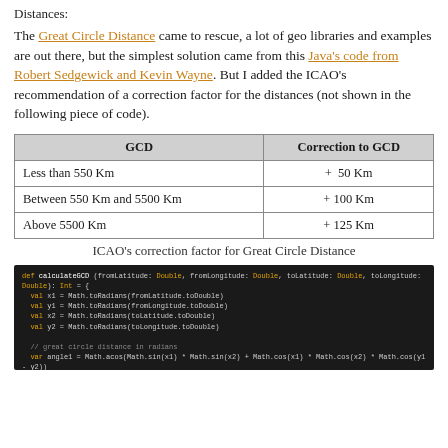Distances:
The Great Circle Distance came to rescue, a lot of geo libraries and examples are out there, but the simplest solution came from this Java's code from Robert Sedgewick and Kevin Wayne. But I added the ICAO's recommendation of a correction factor for the distances (not shown in the following piece of code).
| GCD | Correction to GCD |
| --- | --- |
| Less than 550 Km | +  50 Km |
| Between 550 Km and 5500 Km | + 100 Km |
| Above 5500 Km | + 125 Km |
ICAO's correction factor for Great Circle Distance
[Figure (screenshot): Scala code block showing calculateGCD function computing Great Circle Distance using Math trigonometry functions, converting radians to degrees and nautical miles to km.]